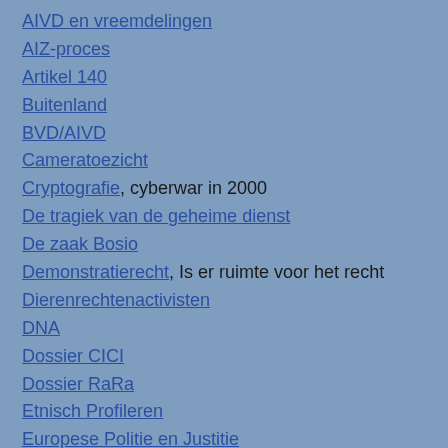AIVD en vreemdelingen
AIZ-proces
Artikel 140
Buitenland
BVD/AIVD
Cameratoezicht
Cryptografie, cyberwar in 2000
De tragiek van de geheime dienst
De zaak Bosio
Demonstratierecht, Is er ruimte voor het recht
Dierenrechtenactivisten
DNA
Dossier CICI
Dossier RaRa
Etnisch Profileren
Europese Politie en Justitie
Europese regelgeving
Europol
Eurotop